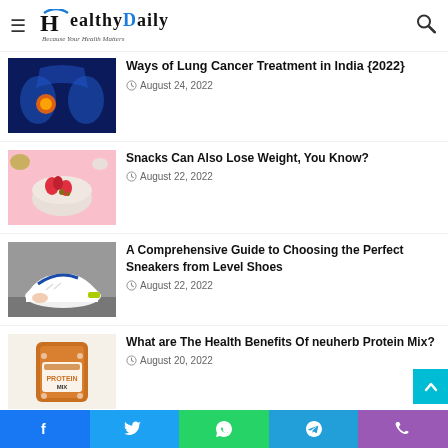HealthyDaily — Because Your Health Matters
Ways of Lung Cancer Treatment in India {2022} — August 24, 2022
Snacks Can Also Lose Weight, You Know? — August 22, 2022
A Comprehensive Guide to Choosing the Perfect Sneakers from Level Shoes — August 22, 2022
What are The Health Benefits Of neuherb Protein Mix? — August 20, 2022
Facebook | Twitter | WhatsApp | Telegram | Phone